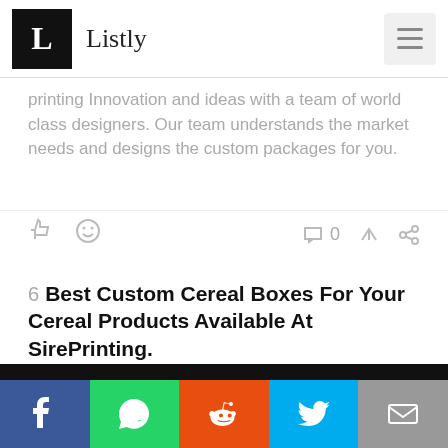Listly
printing Innovation and ideas with a team of world class designers. Our team understands the market needs and designs the custom packages for you.
6  Best Custom Cereal Boxes For Your Cereal Products Available At SirePrinting.
Feb 18, 2022
This website uses cookies to ensure you get the best experience on our website.
Learn more
Got it!